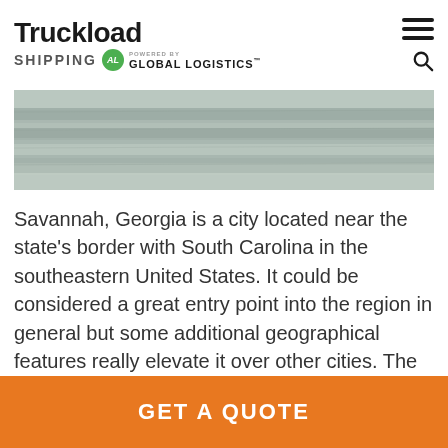Truckload Shipping powered by Global Logistics
[Figure (photo): River water surface, likely the Savannah River, showing calm water with muted grey-green tones]
Savannah, Georgia is a city located near the state's border with South Carolina in the southeastern United States. It could be considered a great entry point into the region in general but some additional geographical features really elevate it over other cities. The Savannah River, which the Port of Savannah resides on, has a direct
GET A QUOTE